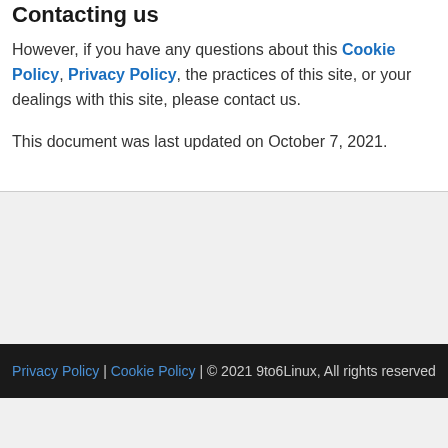Contacting us
However, if you have any questions about this Cookie Policy, Privacy Policy, the practices of this site, or your dealings with this site, please contact us.
This document was last updated on October 7, 2021.
Privacy Policy | Cookie Policy | © 2021 9to6Linux, All rights reserved